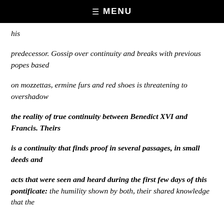☰ MENU
his
predecessor. Gossip over continuity and breaks with previous popes based
on mozzettas, ermine furs and red shoes is threatening to overshadow
the reality of true continuity between Benedict XVI and Francis. Theirs
is a continuity that finds proof in several passages, in small deeds and
acts that were seen and heard during the first few days of this pontificate: the humility shown by both, their shared knowledge that the